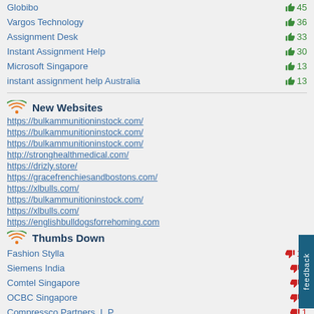Globibo 👍 45
Vargos Technology 👍 36
Assignment Desk 👍 33
Instant Assignment Help 👍 30
Microsoft Singapore 👍 13
instant assignment help Australia 👍 13
New Websites
https://bulkammunitioninstock.com/
https://bulkammunitioninstock.com/
https://bulkammunitioninstock.com/
http://stronghealthmedical.com/
https://drizly.store/
https://gracefrenchiesandbostons.com/
https://xlbulls.com/
https://bulkammunitioninstock.com/
https://xlbulls.com/
https://englishbulldogsforrehoming.com
Thumbs Down
Fashion Stylla 👎 11
Siemens India 👎 2
Comtel Singapore 👎 1
OCBC Singapore 👎 1
Compressco Partners, L.P. 👎 1
Kinergy Ltd 👎 1
Novartis AG 👎 1
UOB Singapore 👎 1
TranS1 Inc. 👎 1